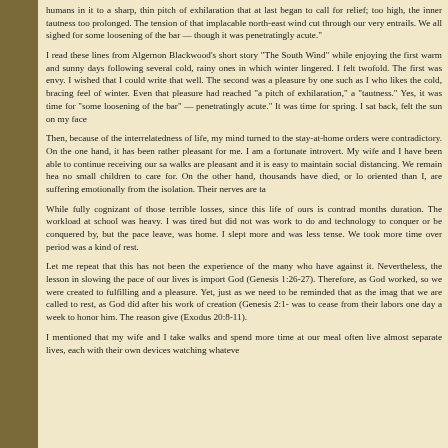humans in it to a sharp, thin pitch of exhilaration that at last began to call for relief; too high, the inner tautness too prolonged. The tension of that implacable north-east wind cut through our very entrails. We all sighed for some loosening of the bar — though it was penetratingly acute."
I read these lines from Algernon Blackwood's short story "The South Wind" while enjoying the first warm and sunny days following several cold, rainy ones in which winter lingered. I felt twofold. The first was envy. I wished that I could write that well. The second was a pleasure by one such as I who likes the cold, bracing feel of winter. Even that pleasure had reached "a pitch of exhilaration," a "tautness." Yes, it was time for "some loosening of the bar" — penetratingly acute." It was time for spring. I sat back, felt the sun on my face
Then, because of the interrelatedness of life, my mind turned to the stay-at-home orders were contradictory. On the one hand, it has been rather pleasant for me. I am a fortunate introvert. My wife and I have been able to continue receiving our sa walks are pleasant and it is easy to maintain social distancing. We remain hea no small children to care for. On the other hand, thousands have died, or lo oriented than I, are suffering emotionally from the isolation. Their nerves are ta
While fully cognizant of those terrible losses, since this life of ours is contrad months duration. The workload at school was heavy. I was tired but did not was work to do and technology to conquer or be conquered by, but the pace leave, was home. I slept more and was less tense. We took more time over period was a kind of rest.
Let me repeat that this has not been the experience of the many who have against it. Nevertheless, the lesson in slowing the pace of our lives is import God (Genesis 1:26-27). Therefore, as God worked, so we were created to fulfilling and a pleasure. Yet, just as we need to be reminded that as the imag that we are called to rest, as God did after his work of creation (Genesis 2:1- was to cease from their labors one day a week to honor him. The reason give (Exodus 20:8-11).
I mentioned that my wife and I take walks and spend more time at our meal often live almost separate lives, each with their own devices watching whateve